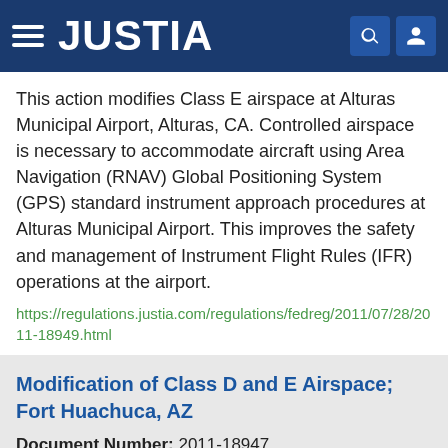JUSTIA
This action modifies Class E airspace at Alturas Municipal Airport, Alturas, CA. Controlled airspace is necessary to accommodate aircraft using Area Navigation (RNAV) Global Positioning System (GPS) standard instrument approach procedures at Alturas Municipal Airport. This improves the safety and management of Instrument Flight Rules (IFR) operations at the airport.
https://regulations.justia.com/regulations/fedreg/2011/07/28/2011-18949.html
Modification of Class D and E Airspace; Fort Huachuca, AZ
Document Number: 2011-18947
Type: Rule
Date: 2011-07-28